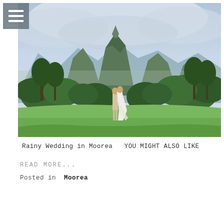[Figure (photo): Wedding couple embracing on a green lawn with dramatic lush tropical mountains and cloudy sky behind them in Moorea, French Polynesia. A tall jagged volcanic peak rises in the background through clouds.]
Rainy Wedding in Moorea  YOU MIGHT ALSO LIKE
READ MORE...
Posted in  Moorea